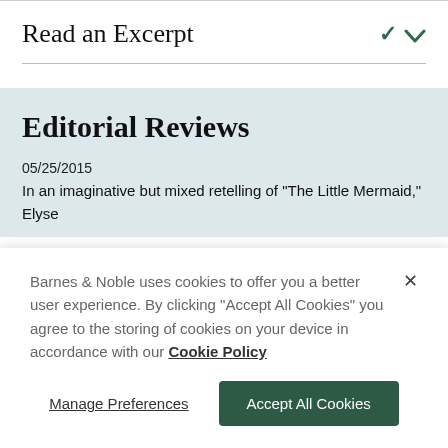Read an Excerpt
Editorial Reviews
05/25/2015
In an imaginative but mixed retelling of "The Little Mermaid," Elyse
Barnes & Noble uses cookies to offer you a better user experience. By clicking "Accept All Cookies" you agree to the storing of cookies on your device in accordance with our Cookie Policy
Manage Preferences
Accept All Cookies